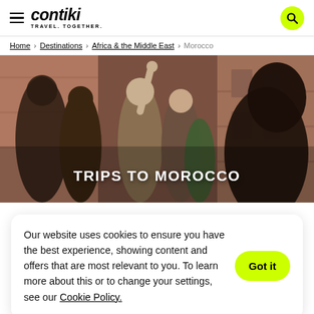contiki TRAVEL. TOGETHER.
Home > Destinations > Africa & the Middle East > Morocco
[Figure (photo): Group of young travelers walking through a narrow Moroccan alley with terracotta-colored walls, one person raising their arm.]
TRIPS TO MOROCCO
Our website uses cookies to ensure you have the best experience, showing content and offers that are most relevant to you. To learn more about this or to change your settings, see our Cookie Policy.